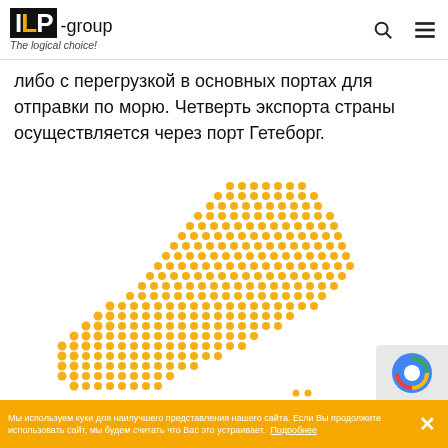ILP-group — The logical choice!
либо с перегрузкой в основных портах для отправки по морю. Четверть экспорта страны осуществляется через порт Гетеборг.
[Figure (map): Dotted orange map of Sweden]
Мы используем куки для наилучшего представления нашего сайта. Если Вы продолжите использовать сайт, мы будем считать что Вас это устраивает. Подробнее